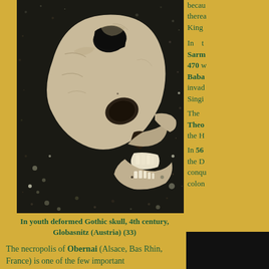[Figure (photo): A deformed Gothic skull photographed from above against dark soil/gravel background, showing a large hole/trauma in the cranium.]
In youth deformed Gothic skull, 4th century, Globasnitz (Austria) (33)
The necropolis of Obernai (Alsace, Bas Rhin, France) is one of the few important
becau therea King In t Sarm 470 v Baba invad Singi The Theo the H In 56 the D conqu color